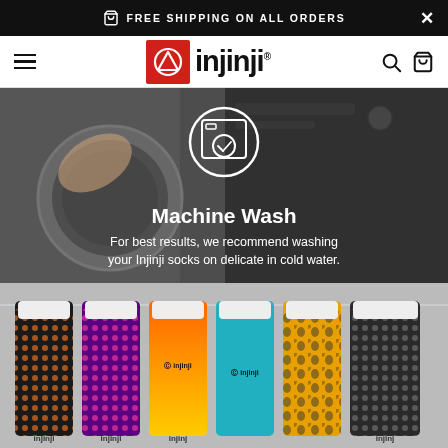FREE SHIPPING ON ALL ORDERS
[Figure (logo): Injinji logo with red square icon and bold black text, with hamburger menu, search, and cart icons in navigation bar]
[Figure (photo): Background photo of a washing machine being loaded by a hand, with white washing machine icon overlay. Text overlay: 'Machine Wash - For best results, we recommend washing your Injinji socks on delicate in cold water.']
[Figure (photo): Photo of multiple colorful Injinji toe socks hanging on a line, showing various patterns including leopard print, teal, orange gradient, purple, and dark patterns.]